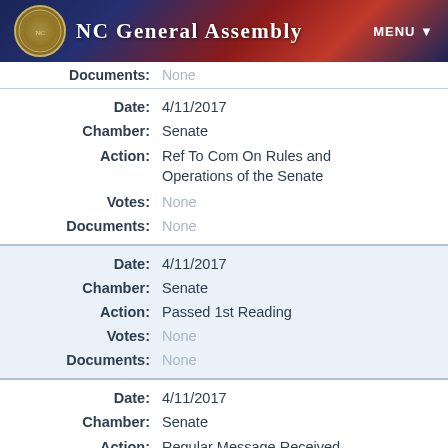NC General Assembly  MENU
| Field | Value |
| --- | --- |
| Documents: | None |
| Date: | 4/11/2017 |
| Chamber: | Senate |
| Action: | Ref To Com On Rules and Operations of the Senate |
| Votes: | None |
| Documents: | None |
| Date: | 4/11/2017 |
| Chamber: | Senate |
| Action: | Passed 1st Reading |
| Votes: | None |
| Documents: | None |
| Date: | 4/11/2017 |
| Chamber: | Senate |
| Action: | Regular Message Received From House |
| Votes: | None |